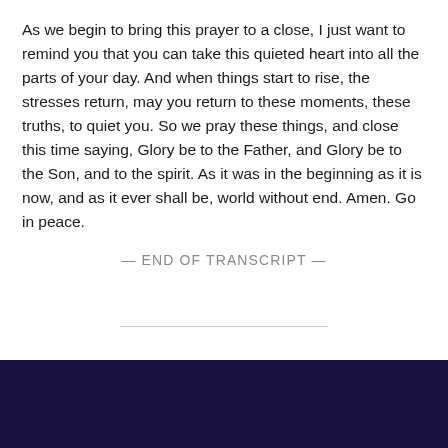As we begin to bring this prayer to a close, I just want to remind you that you can take this quieted heart into all the parts of your day. And when things start to rise, the stresses return, may you return to these moments, these truths, to quiet you. So we pray these things, and close this time saying, Glory be to the Father, and Glory be to the Son, and to the spirit. As it was in the beginning as it is now, and as it ever shall be, world without end. Amen. Go in peace.
— END OF TRANSCRIPT —